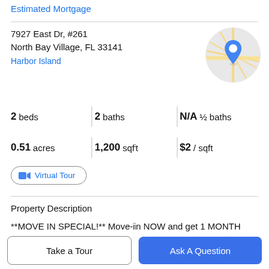Estimated Mortgage
7927 East Dr, #261
North Bay Village, FL 33141
Harbor Island
[Figure (map): Circular cropped map thumbnail with a blue location pin marker in the center, showing street map of the area.]
2 beds  2 baths  N/A ½ baths
0.51 acres  1,200 sqft  $2 / sqft
Virtual Tour
Property Description
**MOVE IN SPECIAL!** Move-in NOW and get 1 MONTH FREE! ** Enjoy the graceful setting in this bayfront oasis.
Take a Tour
Ask A Question